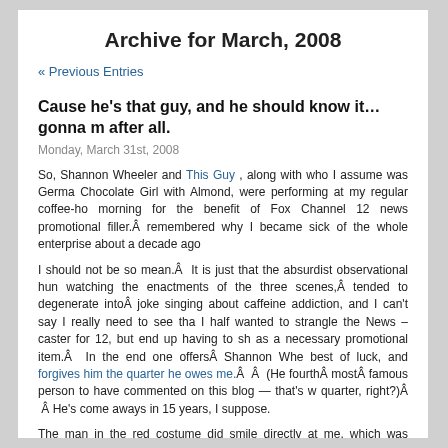Archive for March, 2008
« Previous Entries
Cause he's that guy, and he should know it… gonna m after all.
Monday, March 31st, 2008
So, Shannon Wheeler and This Guy , along with who I assume was Germa Chocolate Girl with Almond, were performing at my regular coffee-ho morning for the benefit of Fox Channel 12 news promotional filler.Â remembered why I became sick of the whole enterprise about a decade ago
I should not be so mean.Â  It is just that the absurdist observational hun watching the enactments of the three scenes,Â tended to degenerate intoÂ joke singing about caffeine addiction, and I can't say I really need to see tha I half wanted to strangle the News – caster for 12, but end up having to sh as a necessary promotional item.Â  In the end one offersÂ Shannon Whe best of luck, and forgives him the quarter he owes me.Â  Â  (He fourthÂ mostÂ famous person to have commented on this blog — that's w quarter, right?)Â  Â He's come aways in 15 years, I suppose.
The man in the red costume did smile directly at me, which was welcome otherwise I was stuck looking at the red flap over his butt.